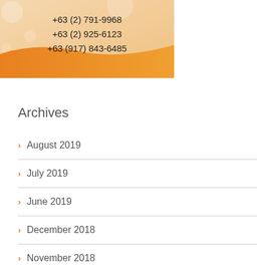[Figure (other): Orange gradient banner with phone numbers: +63 (2) 791-9968, +63 (2) 925-6123, +63 (917) 843-6485]
Archives
August 2019
July 2019
June 2019
December 2018
November 2018